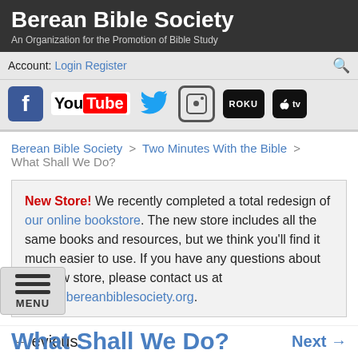Berean Bible Society
An Organization for the Promotion of Bible Study
Account: Login Register
[Figure (screenshot): Social media icons: Facebook, YouTube, Twitter, Instagram, Roku, Apple TV]
Berean Bible Society > Two Minutes With the Bible > What Shall We Do?
New Store! We recently completed a total redesign of our online bookstore. The new store includes all the same books and resources, but we think you'll find it much easier to use. If you have any questions about the new store, please contact us at store@bereanbiblesociety.org.
← Previous    Next →
What Shall We Do?